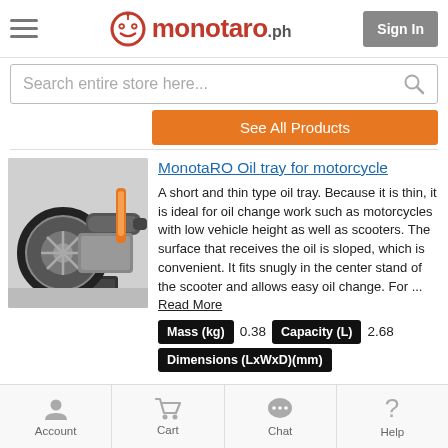MonotaRO.ph — Sign In
Search entire store here...
See All Products
MonotaRO Oil tray for motorcycle
[Figure (photo): Photo of a motorcycle's underside showing the engine, wheel, and an oil tray placed beneath it on the ground.]
A short and thin type oil tray. Because it is thin, it is ideal for oil change work such as motorcycles with low vehicle height as well as scooters. The surface that receives the oil is sloped, which is convenient. It fits snugly in the center stand of the scooter and allows easy oil change. For ... Read More
Mass (kg) 0.38   Capacity (L) 2.68
Dimensions (LxWxD)(mm)
Account   Cart   Chat   Help